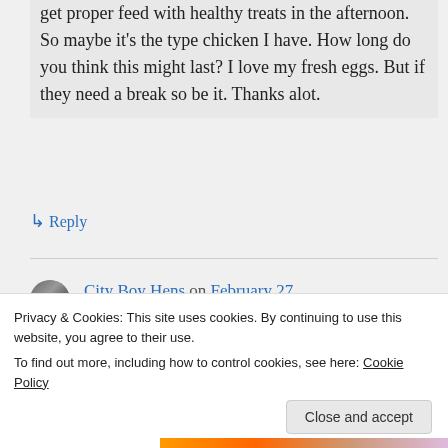get proper feed with healthy treats in the afternoon. So maybe it's the type chicken I have. How long do you think this might last? I love my fresh eggs. But if they need a break so be it. Thanks alot.
↳ Reply
City Boy Hens on February 27, 2014 at 9:34 am
Privacy & Cookies: This site uses cookies. By continuing to use this website, you agree to their use. To find out more, including how to control cookies, see here: Cookie Policy
Close and accept